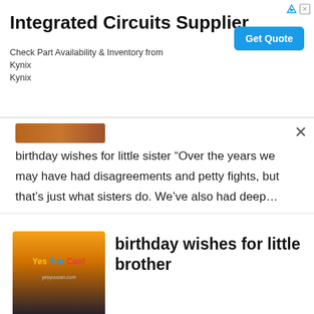[Figure (screenshot): Advertisement banner for Integrated Circuits Supplier - Kynix, with Get Quote button]
Integrated Circuits Supplier
Check Part Availability & Inventory from Kynix Kynix
[Figure (photo): Thumbnail image for birthday wishes for little sister post]
birthday wishes for little sister “Over the years we may have had disagreements and petty fights, but that’s just what sisters do. We’ve also had deep…
[Figure (photo): Thumbnail image showing person raising fist at sunset with Yes You Can! text]
birthday wishes for little brother
birthday wishes for little brother I miss you so much little brother, May this day in your life be as jovial as you. Happy birthday! May this…